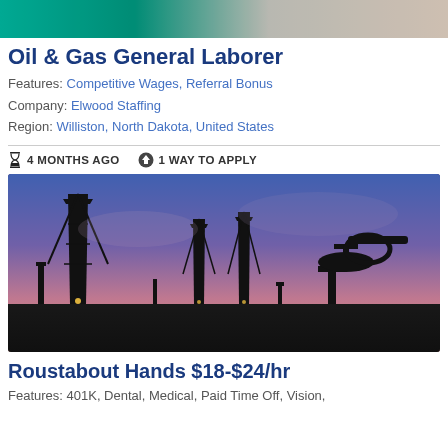[Figure (photo): Top cropped image showing people, partial view]
Oil & Gas General Laborer
Features: Competitive Wages, Referral Bonus
Company: Elwood Staffing
Region: Williston, North Dakota, United States
4 MONTHS AGO   1 WAY TO APPLY
[Figure (photo): Oil field at dusk/sunset showing drilling rigs and pump jacks silhouetted against a purple-blue sky]
Roustabout Hands $18-$24/hr
Features: 401K, Dental, Medical, Paid Time Off, Vision,